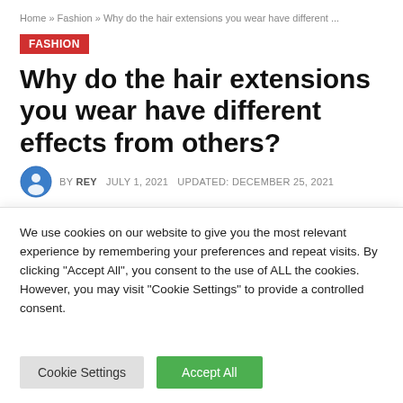Home » Fashion » Why do the hair extensions you wear have different ...
FASHION
Why do the hair extensions you wear have different effects from others?
BY REY   JULY 1, 2021   UPDATED: DECEMBER 25, 2021
We use cookies on our website to give you the most relevant experience by remembering your preferences and repeat visits. By clicking "Accept All", you consent to the use of ALL the cookies. However, you may visit "Cookie Settings" to provide a controlled consent.
Cookie Settings   Accept All